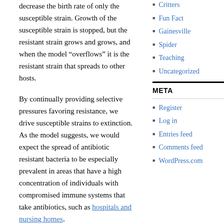decrease the birth rate of only the susceptible strain. Growth of the susceptible strain is stopped, but the resistant strain grows and grows, and when the model “overflows” it is the resistant strain that spreads to other hosts.
By continually providing selective pressures favoring resistance, we drive susceptible strains to extinction. As the model suggests, we would expect the spread of antibiotic resistant bacteria to be especially prevalent in areas that have a high concentration of individuals with compromised immune systems that take antibiotics, such as hospitals and nursing homes.
But, there is hope! Many of the mechanisms of resistance are actually costly to bacteria when antibiotics are not present. It may be possible to
Critters
Fun Fact
Gainesville
Spider
Teaching
Uncategorized
META
Register
Log in
Entries feed
Comments feed
WordPress.com